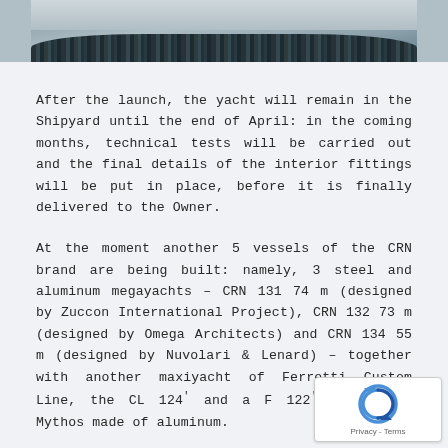[Figure (photo): A crowd of people standing in a row outdoors, likely at a shipyard launch event. The image is cropped to show only the top portion.]
After the launch, the yacht will remain in the Shipyard until the end of April: in the coming months, technical tests will be carried out and the final details of the interior fittings will be put in place, before it is finally delivered to the Owner.
At the moment another 5 vessels of the CRN brand are being built: namely, 3 steel and aluminum megayachts – CRN 131 74 m (designed by Zuccon International Project), CRN 132 73 m (designed by Omega Architects) and CRN 134 55 m (designed by Nuvolari & Lenard) – together with another maxiyacht of Ferretti Custom Line, the CL 124, and a F 122' superyacht Mythos made of aluminum.